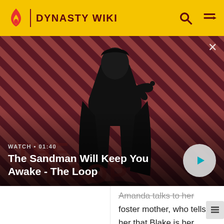DYNASTY WIKI
[Figure (screenshot): Video banner showing The Sandman Will Keep You Awake - The Loop with a person in dark clothing with a raven on shoulder against a red and black diagonal striped background. Shows WATCH • 01:40 label and a play button.]
Amanda talks to her foster mother, who tells her that Blake is her father.
See more...